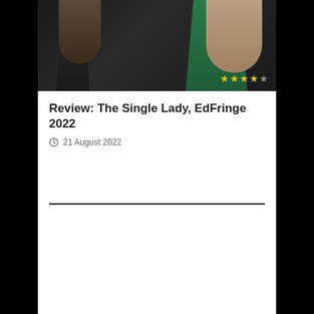[Figure (photo): Two women in a dark setting; one wearing a black top viewed from behind, one wearing a green off-shoulder dress facing camera. Star rating overlay (4 out of 5 stars) in the bottom right corner of the photo.]
Review: The Single Lady, EdFringe 2022
21 August 2022